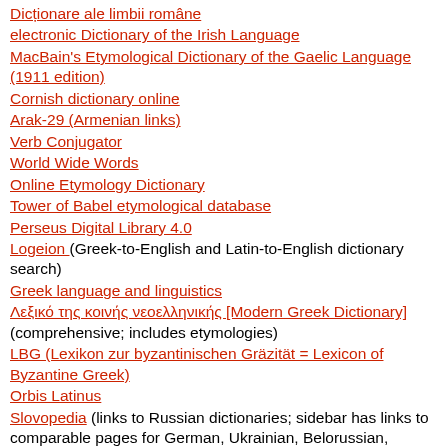Dicționare ale limbii române
electronic Dictionary of the Irish Language
MacBain's Etymological Dictionary of the Gaelic Language (1911 edition)
Cornish dictionary online
Arak-29 (Armenian links)
Verb Conjugator
World Wide Words
Online Etymology Dictionary
Tower of Babel etymological database
Perseus Digital Library 4.0
Logeion (Greek-to-English and Latin-to-English dictionary search)
Greek language and linguistics
Λεξικό της κοινής νεοελληνικής [Modern Greek Dictionary] (comprehensive; includes etymologies)
LBG (Lexikon zur byzantinischen Gräzität = Lexicon of Byzantine Greek)
Orbis Latinus
Slovopedia (links to Russian dictionaries; sidebar has links to comparable pages for German, Ukrainian, Belorussian, Georgian, and Kazakh)